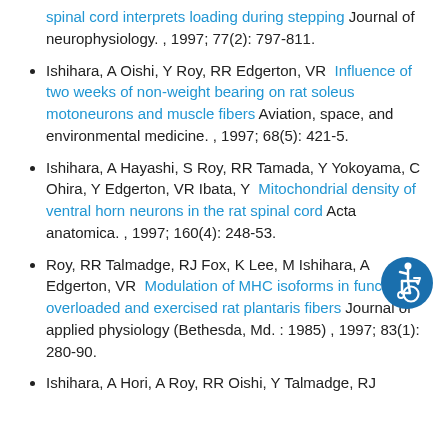spinal cord interprets loading during stepping Journal of neurophysiology. , 1997; 77(2): 797-811.
Ishihara, A Oishi, Y Roy, RR Edgerton, VR Influence of two weeks of non-weight bearing on rat soleus motoneurons and muscle fibers Aviation, space, and environmental medicine. , 1997; 68(5): 421-5.
Ishihara, A Hayashi, S Roy, RR Tamada, Y Yokoyama, C Ohira, Y Edgerton, VR Ibata, Y Mitochondrial density of ventral horn neurons in the rat spinal cord Acta anatomica. , 1997; 160(4): 248-53.
Roy, RR Talmadge, RJ Fox, K Lee, M Ishihara, A Edgerton, VR Modulation of MHC isoforms in functionally overloaded and exercised rat plantaris fibers Journal of applied physiology (Bethesda, Md. : 1985) , 1997; 83(1): 280-90.
Ishihara, A Hori, A Roy, RR Oishi, Y Talmadge, RJ